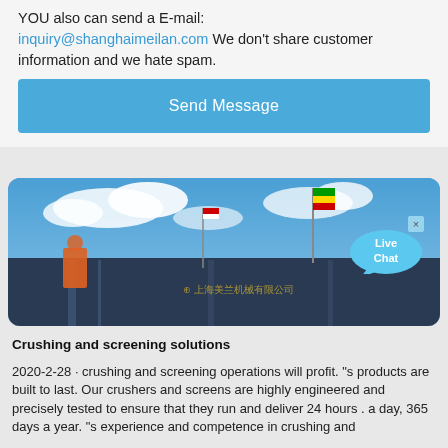YOU also can send a E-mail: inquiry@shanghaimeilan.com We don’t share customer information and we hate spam.
Send Message
[Figure (photo): Industrial crushing/screening machine with flags on top against a blue sky with white clouds. A Live Chat bubble appears in the top right corner.]
Crushing and screening solutions
2020-2-28 · crushing and screening operations will profit. "s products are built to last. Our crushers and screens are highly engineered and precisely tested to ensure that they run and deliver 24 hours . a day, 365 days a year. "s experience and competence in crushing and
Energy considerations in compressive and impact crushing ...
2008-8-1 · 1.2.. Production challenges in miningIn a typical mining application, a primary crusher reduces the size of blasted rock; from several hundred mm down to 0–250. mm.. A secondary crusher then reduces the size from those 250 mm